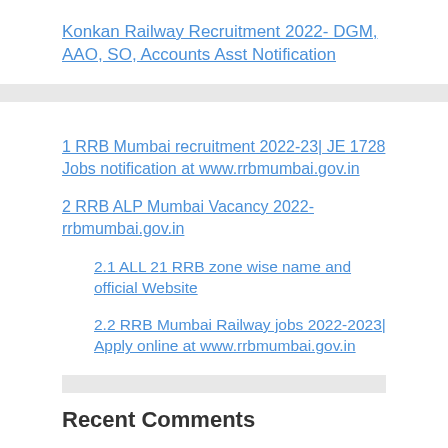Konkan Railway Recruitment 2022- DGM, AAO, SO, Accounts Asst Notification
1 RRB Mumbai recruitment 2022-23| JE 1728 Jobs notification at www.rrbmumbai.gov.in
2  RRB ALP Mumbai Vacancy 2022- rrbmumbai.gov.in
2.1 ALL 21 RRB zone wise name and official Website
2.2 RRB Mumbai Railway jobs 2022-2023| Apply online at www.rrbmumbai.gov.in
Recent Comments